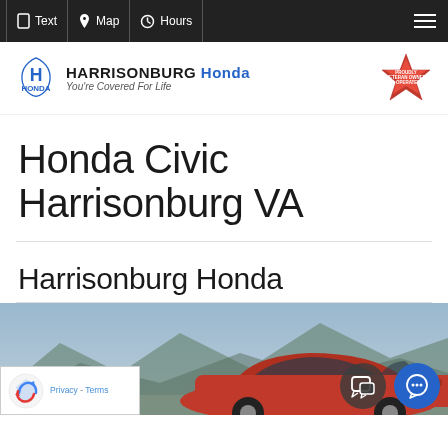Text | Map | Hours
[Figure (logo): Harrisonburg Honda logo with Honda H emblem and tagline 'You're Covered For Life', plus Proudly Veteran Owned & Operated badge]
Honda Civic Harrisonburg VA
Harrisonburg Honda
[Figure (photo): Red Honda Civic sedan photographed outdoors with mountains in background]